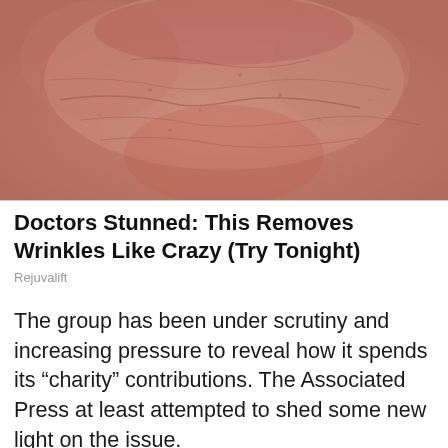[Figure (photo): Close-up photo of wrinkled, aged skin (face/chin area) with reddish-pink tones and visible skin texture.]
Doctors Stunned: This Removes Wrinkles Like Crazy (Try Tonight)
Rejuvalift
The group has been under scrutiny and increasing pressure to reveal how it spends its “charity” contributions. The Associated Press at least attempted to shed some new light on the issue.
“This marks the first time in the movement’s nearly eight-year history that BLM leaders have revealed a